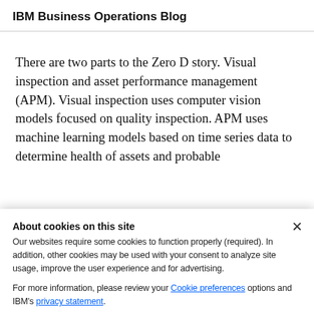IBM Business Operations Blog
There are two parts to the Zero D story. Visual inspection and asset performance management (APM). Visual inspection uses computer vision models focused on quality inspection. APM uses machine learning models based on time series data to determine health of assets and probable
About cookies on this site
Our websites require some cookies to function properly (required). In addition, other cookies may be used with your consent to analyze site usage, improve the user experience and for advertising.

For more information, please review your Cookie preferences options and IBM's privacy statement.
Required only
Accept all